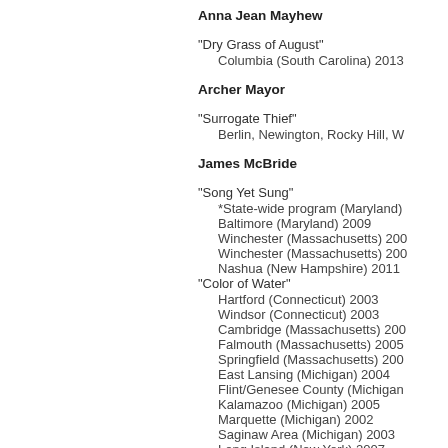Anna Jean Mayhew
"Dry Grass of August"
    Columbia (South Carolina) 2013
Archer Mayor
"Surrogate Thief"
    Berlin, Newington, Rocky Hill, W...
James McBride
"Song Yet Sung"
    *State-wide program (Maryland)
    Baltimore (Maryland) 2009
    Winchester (Massachusetts) 200...
    Winchester (Massachusetts) 200...
    Nashua (New Hampshire) 2011
"Color of Water"
    Hartford (Connecticut) 2003
    Windsor (Connecticut) 2003
    Cambridge (Massachusetts) 200...
    Falmouth (Massachusetts) 2005
    Springfield (Massachusetts) 200...
    East Lansing (Michigan) 2004
    Flint/Genesee County (Michigan...
    Kalamazoo (Michigan) 2005
    Marquette (Michigan) 2002
    Saginaw Area (Michigan) 2003
    Long Island (New York) 2007